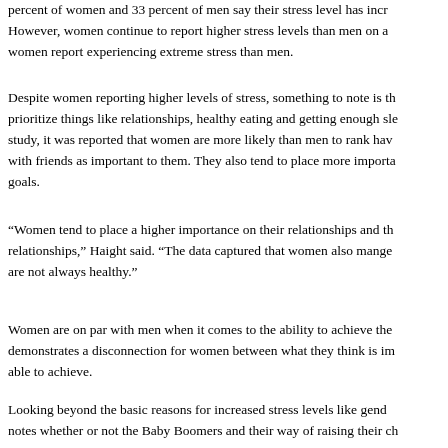percent of women and 33 percent of men say their stress level has increased. However, women continue to report higher stress levels than men on a women report experiencing extreme stress than men.
Despite women reporting higher levels of stress, something to note is that prioritize things like relationships, healthy eating and getting enough sleep. study, it was reported that women are more likely than men to rank having with friends as important to them. They also tend to place more importance on goals.
“Women tend to place a higher importance on their relationships and their relationships,” Haight said. “The data captured that women also manage are not always healthy.”
Women are on par with men when it comes to the ability to achieve the demonstrates a disconnection for women between what they think is important able to achieve.
Looking beyond the basic reasons for increased stress levels like gender, notes whether or not the Baby Boomers and their way of raising their children the increased stress levels of the Millennial Generation. With the focus on child has self-esteem, some believe that the focus point has given the Millennial expectations.